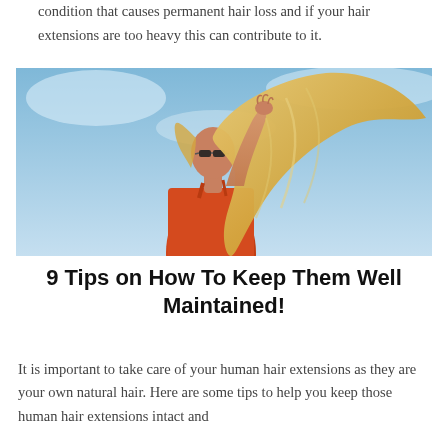condition that causes permanent hair loss and if your hair extensions are too heavy this can contribute to it.
[Figure (photo): Woman in red dress with long blonde hair flowing, wearing sunglasses, posed against a blue sky background]
9 Tips on How To Keep Them Well Maintained!
It is important to take care of your human hair extensions as they are your own natural hair. Here are some tips to help you keep those human hair extensions intact and